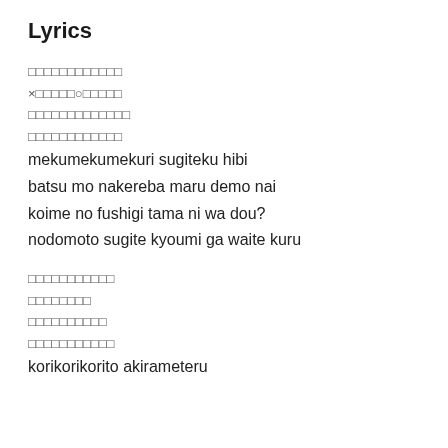Lyrics
□□□□□□□□□□□□
×□□□□□○□□□□□
□□□□□□□□□□□□□
□□□□□□□□□□□□
mekumekumekuri sugiteku hibi
batsu mo nakereba maru demo nai
koime no fushigi tama ni wa dou?
nodomoto sugite kyoumi ga waite kuru
□□□□□□□□□□□
□□□□□□□□
□□□□□□□□□□
□□□□□□□□□□□
korikorikorito akirameteru